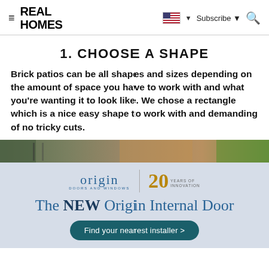REAL HOMES | Subscribe | [search]
1. CHOOSE A SHAPE
Brick patios can be all shapes and sizes depending on the amount of space you have to work with and what you're wanting it to look like. We chose a rectangle which is a nice easy shape to work with and demanding of no tricky cuts.
[Figure (photo): Partial view of a brick patio outdoor area with fencing and greenery]
[Figure (infographic): Origin Doors and Windows advertisement: logo with '20 Years of Innovation' badge, headline 'The NEW Origin Internal Door', and a 'Find your nearest installer' button]